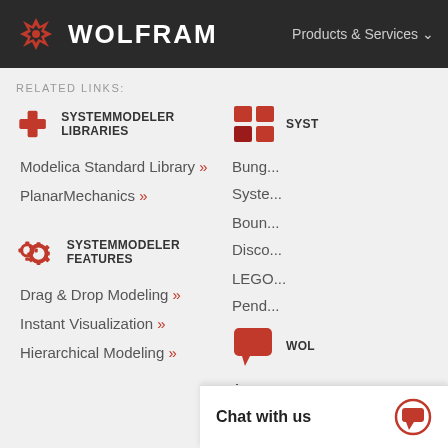WOLFRAM   Products & Services
RELATED LINKS:
SYSTEMMODELER LIBRARIES
Modelica Standard Library »
PlanarMechanics »
SYST (SystemModeler - partially visible)
Bung... Syste...
Boun... Disco...
LEGO... Pend...
SYSTEMMODELER FEATURES
Drag & Drop Modeling »
Instant Visualization »
Hierarchical Modeling »
WOL (partially visible)
Anno...
Q&A ... Mode...
Build... (partially visible)
Chat with us